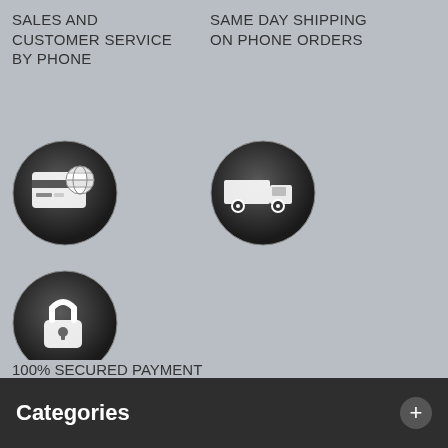SALES AND CUSTOMER SERVICE BY PHONE
SAME DAY SHIPPING ON PHONE ORDERS
[Figure (illustration): Dark circular icon with credit card and globe symbol]
[Figure (illustration): Dark circular icon with delivery truck symbol]
MAJOR CREDIT CARDS ACCEPTED
FREE SHIPPING TO THE CONTINENTAL US
[Figure (illustration): Dark circular icon with padlock symbol]
100% SECURED PAYMENT
Categories